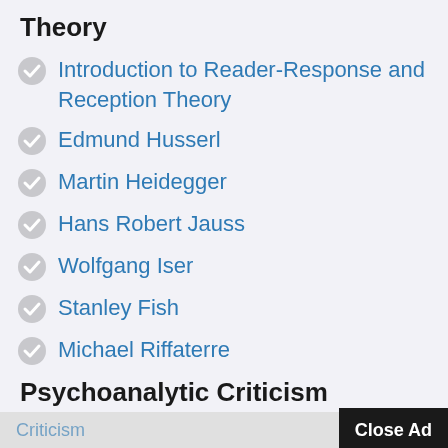Theory
Introduction to Reader-Response and Reception Theory
Edmund Husserl
Martin Heidegger
Hans Robert Jauss
Wolfgang Iser
Stanley Fish
Michael Riffaterre
Psychoanalytic Criticism
Introduction to Psychoanalytic Criticism
Criticism  Close Ad